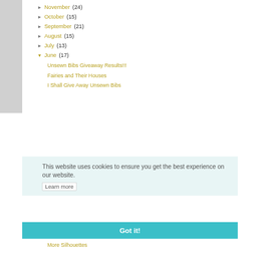► November (24)
► October (15)
► September (21)
► August (15)
► July (13)
▼ June (17)
Unsewn Bibs Giveaway Results!!!
Fairies and Their Houses
I Shall Give Away Unsewn Bibs
This website uses cookies to ensure you get the best experience on our website.
Learn more
Got it!
More Silhouettes